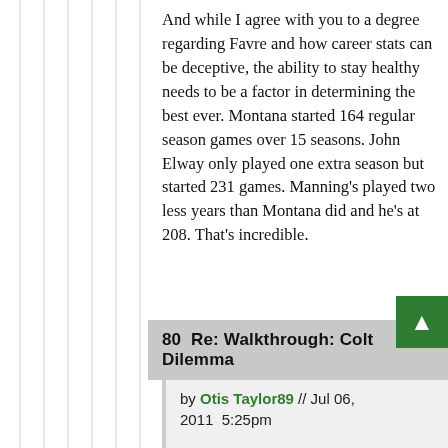And while I agree with you to a degree regarding Favre and how career stats can be deceptive, the ability to stay healthy needs to be a factor in determining the best ever. Montana started 164 regular season games over 15 seasons. John Elway only played one extra season but started 231 games. Manning's played two less years than Montana did and he's at 208. That's incredible.
80  Re: Walkthrough: Colt Dilemma
by Otis Taylor89 // Jul 06, 2011  5:25pm